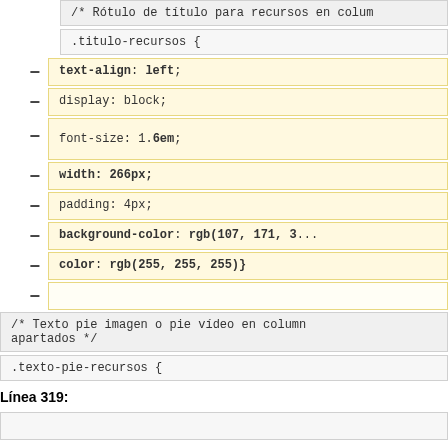/* Rótulo de título para recursos en colum
.titulo-recursos {
text-align: left;
display: block;
font-size: 1.6em;
width: 266px;
padding: 4px;
background-color: rgb(107, 171, 3...
color: rgb(255, 255, 255)}
/* Texto pie imagen o pie vídeo en column apartados */
.texto-pie-recursos {
Línea 319: